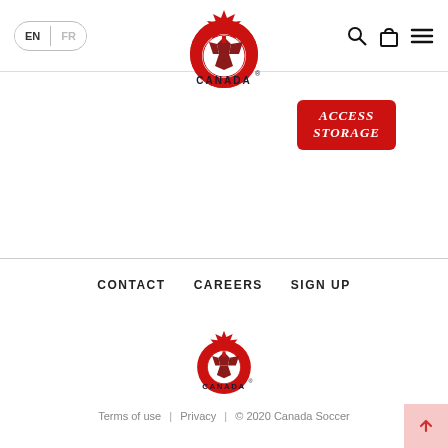[Figure (logo): Canada Soccer official logo — red maple leaf above a soccer ball, text CANADA below, in red and dark blue]
EN  FR
[Figure (logo): Access Storage logo — red rounded rectangle badge with white italic text ACCESS STORAGE]
CONTACT   CAREERS   SIGN UP
[Figure (logo): Canada Soccer footer logo — same red maple leaf and soccer ball logo, smaller size]
Terms of use | Privacy | © 2020 Canada Soccer